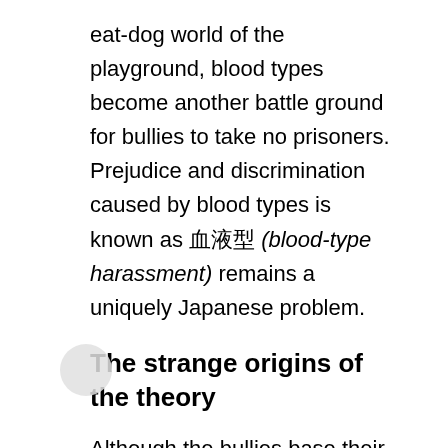eat-dog world of the playground, blood types become another battle ground for bullies to take no prisoners. Prejudice and discrimination caused by blood types is known as 血液型 (blood-type harassment) remains a uniquely Japanese problem.
The strange origins of the theory
Although the bullies base their victimization on the foolish belief that their blood type is superior, many of them would likely be surprised to discover the belief that certain blood types were superior to others has